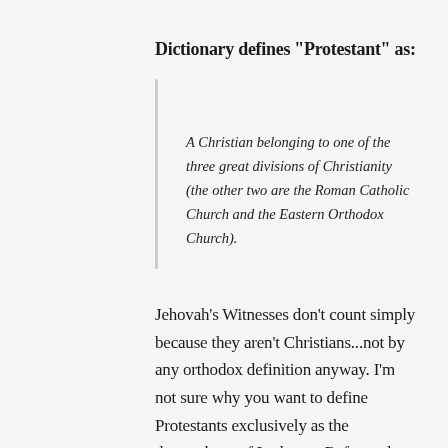Dictionary defines "Protestant" as:
A Christian belonging to one of the three great divisions of Christianity (the other two are the Roman Catholic Church and the Eastern Orthodox Church).
Jehovah's Witnesses don't count simply because they aren't Christians...not by any orthodox definition anyway. I'm not sure why you want to define Protestants exclusively as the descendants of Lutheran, Reformed, or Anglican churches. That would exclude the Quakers, Amish (completely